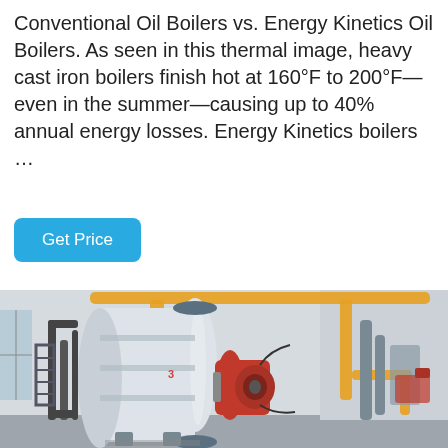Conventional Oil Boilers vs. Energy Kinetics Oil Boilers. As seen in this thermal image, heavy cast iron boilers finish hot at 160°F to 200°F—even in the summer—causing up to 40% annual energy losses. Energy Kinetics boilers …
Get Price
[Figure (photo): Photograph of a large industrial oil boiler in a mechanical room. The boiler has a large white cylindrical tank body with a red burner assembly on the right side. Yellow pipes run overhead. Various black pipes and cables are visible on the left side.]